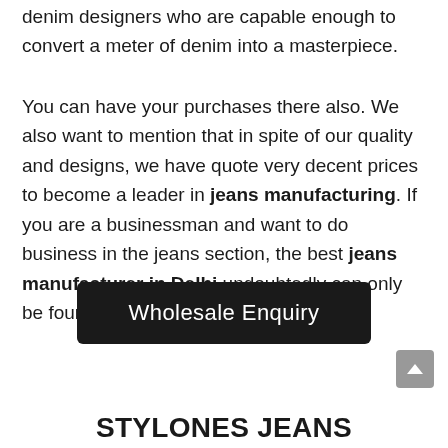denim designers who are capable enough to convert a meter of denim into a masterpiece.
You can have your purchases there also. We also want to mention that in spite of our quality and designs, we have quote very decent prices to become a leader in jeans manufacturing. If you are a businessman and want to do business in the jeans section, the best jeans manufacturer in Delhi undoubtedly can only be found in Tilak Nagar.
[Figure (other): Black button labeled 'Wholesale Enquiry']
STYLONES JEANS